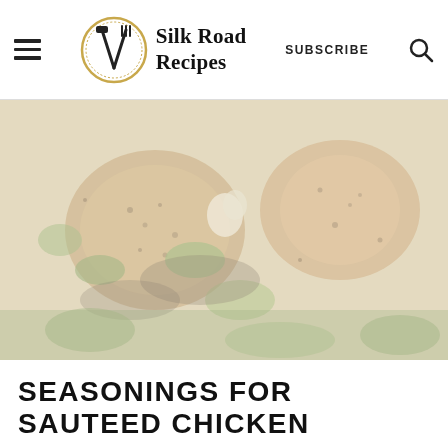Silk Road Recipes — SUBSCRIBE
[Figure (photo): Close-up food photo of sautéed chicken with vegetables, herbs and spices, faded/washed out appearance]
SEASONINGS FOR SAUTEED CHICKEN